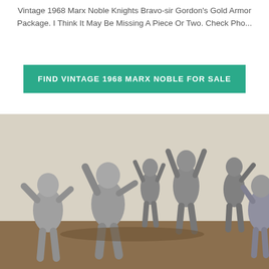Vintage 1968 Marx Noble Knights Bravo-sir Gordon's Gold Armor Package. I Think It May Be Missing A Piece Or Two. Check Pho...
[Figure (other): A green button/banner reading 'FIND VINTAGE 1968 MARX NOBLE FOR SALE' in white bold uppercase letters]
[Figure (photo): Photograph of multiple vintage Marx noble knight plastic figurines in silver/gray color, posed in various action stances with raised arms, displayed on a wooden surface against a beige/cream background]